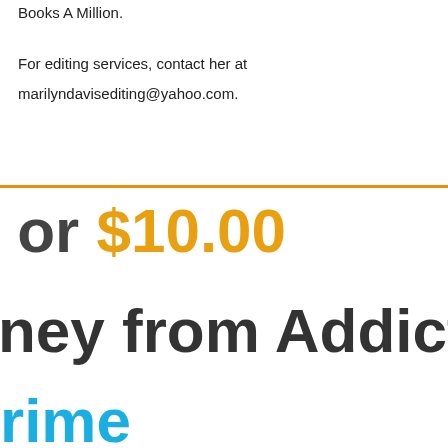Books A Million.
For editing services, contact her at marilyndavisediting@yahoo.com.
or $10.00
ney from Addict to
rime